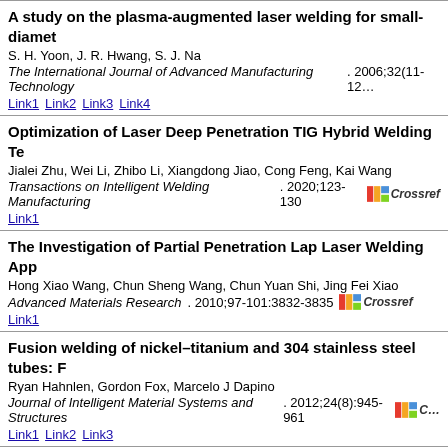A study on the plasma-augmented laser welding for small-diameter
S. H. Yoon, J. R. Hwang, S. J. Na
The International Journal of Advanced Manufacturing Technology. 2006;32(11-12…
Link1 Link2 Link3 Link4
Optimization of Laser Deep Penetration TIG Hybrid Welding Te…
Jialei Zhu, Wei Li, Zhibo Li, Xiangdong Jiao, Cong Feng, Kai Wang
Transactions on Intelligent Welding Manufacturing. 2020;123-130
Link1
The Investigation of Partial Penetration Lap Laser Welding App…
Hong Xiao Wang, Chun Sheng Wang, Chun Yuan Shi, Jing Fei Xiao
Advanced Materials Research. 2010;97-101:3832-3835
Link1
Fusion welding of nickel–titanium and 304 stainless steel tubes: R…
Ryan Hahnlen, Gordon Fox, Marcelo J Dapino
Journal of Intelligent Material Systems and Structures. 2012;24(8):945-961
Link1 Link2 Link3
Effects of welding speed on absorption rate in partial and full pe…